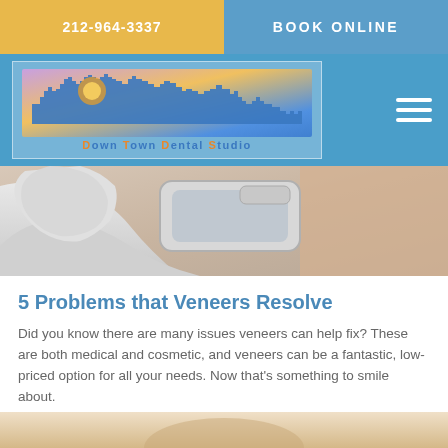212-964-3337
BOOK ONLINE
[Figure (logo): Down Town Dental Studio logo with city skyline silhouette on blue background]
[Figure (photo): Dental professional in gloves holding a veneer tray close-up]
5 Problems that Veneers Resolve
Did you know there are many issues veneers can help fix? These are both medical and cosmetic, and veneers can be a fantastic, low-priced option for all your needs. Now that's something to smile about.
[Figure (photo): Partial bottom image showing a person smiling]